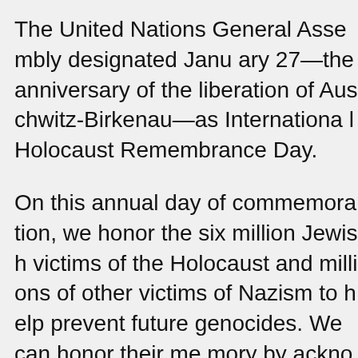The United Nations General Assembly designated January 27—the anniversary of the liberation of Auschwitz-Birkenau—as International Holocaust Remembrance Day.
On this annual day of commemoration, we honor the six million Jewish victims of the Holocaust and millions of other victims of Nazism, and we recommit ourselves to help prevent future genocides. We can honor their memory by acknowledging the sins of the past. Here's a link to a video: https://www.ushmm.org/remember/international-holocaust-remembrance-day?fbclid=IwAR26EC9hmKQn7sq0eMeOUcPjmZYpPuolBN...gk7yeKk
In reading the book Caste by Isabel Wilkerson it was so striking that the Nazis studied the racial laws in the United States to establish their racialized standards and even rejected a few of the US laws as too horrifying as the historical records are, it helped me understand how people get brainwashed into believing white supremacist propaganda plays in shaping our views, and how important...